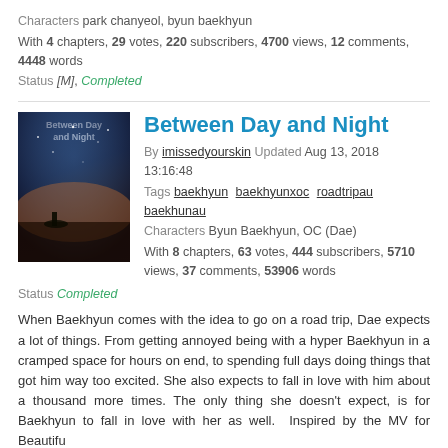Characters park chanyeol, byun baekhyun
With 4 chapters, 29 votes, 220 subscribers, 4700 views, 12 comments, 4448 words
Status [M], Completed
Between Day and Night
By imissedyourskin Updated Aug 13, 2018 13:16:48
Tags baekhyun baekhyunxoc roadtripau baekhunau
Characters Byun Baekhyun, OC (Dae)
With 8 chapters, 63 votes, 444 subscribers, 5710 views, 37 comments, 53906 words
Status Completed
When Baekhyun comes with the idea to go on a road trip, Dae expects a lot of things. From getting annoyed being with a hyper Baekhyun in a cramped space for hours on end, to spending full days doing things that got him way too excited. She also expects to fall in love with him about a thousand more times. The only thing she doesn't expect, is for Baekhyun to fall in love with her as well.  Inspired by the MV for Beautifu
Saviour
By tokki_geek Updated May 1, 2018 12:42:59